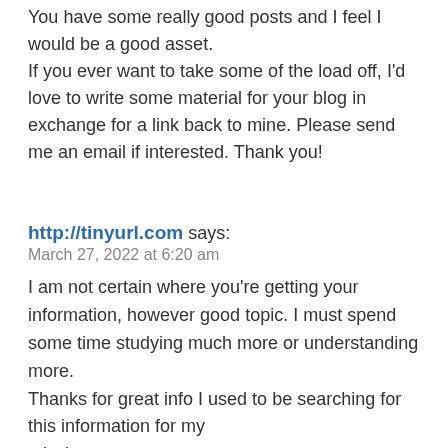You have some really good posts and I feel I would be a good asset.
If you ever want to take some of the load off, I'd love to write some material for your blog in exchange for a link back to mine. Please send me an email if interested. Thank you!
http://tinyurl.com says:
March 27, 2022 at 6:20 am
I am not certain where you're getting your information, however good topic. I must spend some time studying much more or understanding more.
Thanks for great info I used to be searching for this information for my mission.
http://tinyurl.com says:
March 29, 2022 at 7:46 am